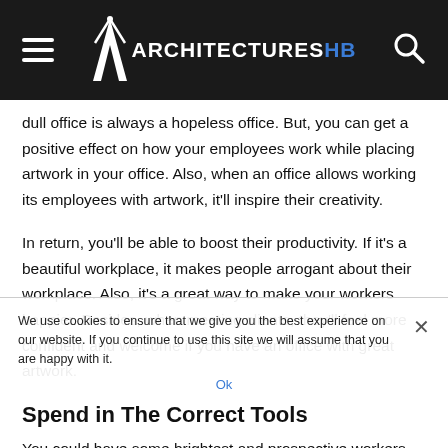Architectures HB
dull office is always a hopeless office. But, you can get a positive effect on how your employees work while placing artwork in your office. Also, when an office allows working its employees with artwork, it'll inspire their creativity.
In return, you'll be able to boost their productivity. If it's a beautiful workplace, it makes people arrogant about their workplace. Also, it's a great way to make your workers happier. Besides, when meeting clients, they'll feel more confident and welcome if you have an office with great artwork.
Spend in The Correct Tools
You could have some brightest and prospective workers. But,
We use cookies to ensure that we give you the best experience on our website. If you continue to use this site we will assume that you are happy with it.